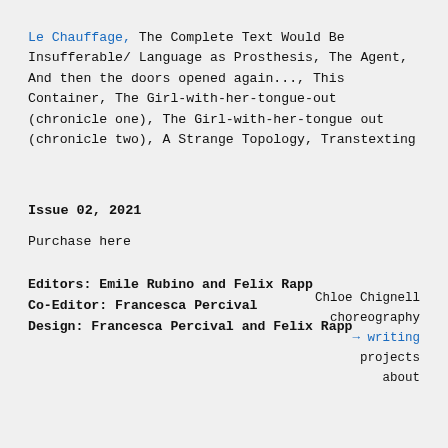Le Chauffage, The Complete Text Would Be Insufferable/ Language as Prosthesis, The Agent, And then the doors opened again..., This Container, The Girl-with-her-tongue-out (chronicle one), The Girl-with-her-tongue out (chronicle two), A Strange Topology, Transtexting
Issue 02, 2021
Purchase here
Editors: Emile Rubino and Felix Rapp
Co-Editor: Francesca Percival
Design: Francesca Percival and Felix Rapp
Chloe Chignell choreography → writing projects about